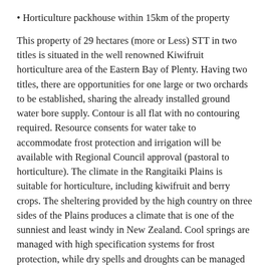Horticulture packhouse within 15km of the property
This property of 29 hectares (more or Less) STT in two titles is situated in the well renowned Kiwifruit horticulture area of the Eastern Bay of Plenty. Having two titles, there are opportunities for one large or two orchards to be established, sharing the already installed ground water bore supply. Contour is all flat with no contouring required. Resource consents for water take to accommodate frost protection and irrigation will be available with Regional Council approval (pastoral to horticulture). The climate in the Rangitaiki Plains is suitable for horticulture, including kiwifruit and berry crops. The sheltering provided by the high country on three sides of the Plains produces a climate that is one of the sunniest and least windy in New Zealand. Cool springs are managed with high specification systems for frost protection, while dry spells and droughts can be managed with a robust irrigation system and that's all here.
Properties of this scale, in this location, with the standard of infrastructure Park Road offers, rarely come to the market. Secure